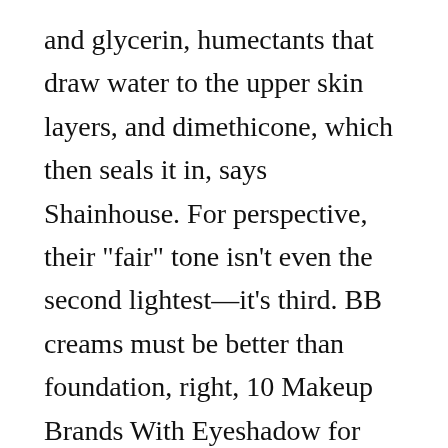and glycerin, humectants that draw water to the upper skin layers, and dimethicone, which then seals it in, says Shainhouse. For perspective, their "fair" tone isn't even the second lightest—it's third. BB creams must be better than foundation, right, 10 Makeup Brands With Eyeshadow for Any Skin Tone. The marketing term "CC cream" was invented later and sometimes stands for Color Correction cream. Best BB Cream for Oily Skin; Best Face Wash Cleansers for Blackheads; Best Laundry Detergent for Sensitive Skin ; Search; Menu; The Guide to Buying the Best Anal Bleaching Creams & Gel Kits of 2020. It was originally developed in Germany as an all-in-1 cream to be used by